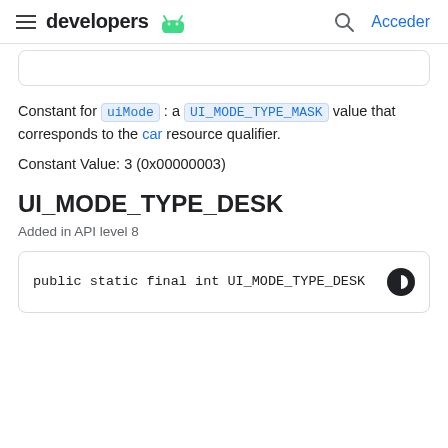developers | Acceder
Constant for uiMode : a UI_MODE_TYPE_MASK value that corresponds to the car resource qualifier.
Constant Value: 3 (0x00000003)
UI_MODE_TYPE_DESK
Added in API level 8
public static final int UI_MODE_TYPE_DESK